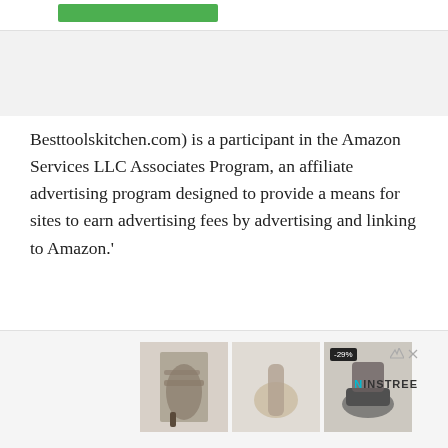[Figure (screenshot): Green button in top navigation bar of website]
Besttoolskitchen.com) is a participant in the Amazon Services LLC Associates Program, an affiliate advertising program designed to provide a means for sites to earn advertising fees by advertising and linking to Amazon.'
[Figure (screenshot): Advertisement banner showing three images of women's shoes (heeled sandals, flat sandals, platform shoes) with -29% badge, and NINSTREE logo on the right]